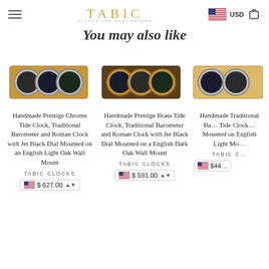TABIC — navigation header with hamburger menu, brand logo, US flag, USD currency, cart icon
You may also like
[Figure (photo): Handmade Prestige Chrome Tide Clock, Traditional Barometer and Roman Clock mounted on English Light Oak Wall Mount — three circular chrome instruments on a light oak board]
Handmade Prestige Chrome Tide Clock, Traditional Barometer and Roman Clock with Jet Black Dial Mounted on an English Light Oak Wall Mount
TABIC CLOCKS
$627.00
[Figure (photo): Handmade Prestige Brass Tide Clock, Traditional Barometer and Roman Clock with Jet Black Dial mounted on English Dark Oak Wall Mount — three circular brass instruments on a dark oak board]
Handmade Prestige Brass Tide Clock, Traditional Barometer and Roman Clock with Jet Black Dial Mounted on a English Dark Oak Wall Mount
TABIC CLOCKS
$591.00
[Figure (photo): Partial view of a third Tabic clock product on a light oak board — partially cropped on right edge]
Handmade Traditional Barometer Tide Clock Mounted on English Light Oak Mo...
TABIC C...
$44...